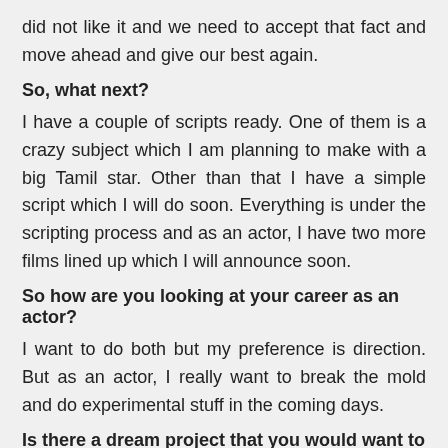did not like it and we need to accept that fact and move ahead and give our best again.
So, what next?
I have a couple of scripts ready. One of them is a crazy subject which I am planning to make with a big Tamil star. Other than that I have a simple script which I will do soon. Everything is under the scripting process and as an actor, I have two more films lined up which I will announce soon.
So how are you looking at your career as an actor?
I want to do both but my preference is direction. But as an actor, I really want to break the mold and do experimental stuff in the coming days.
Is there a dream project that you would want to direct?